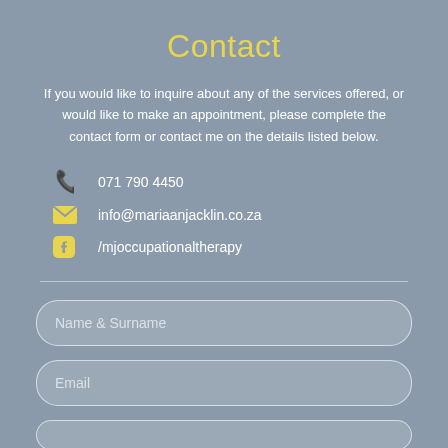Contact
If you would like to inquire about any of the services offered, or would like to make an appointment, please complete the contact form or contact me on the details listed below.
071 790 4450
info@mariaanjacklin.co.za
/mjoccupationaltherapy